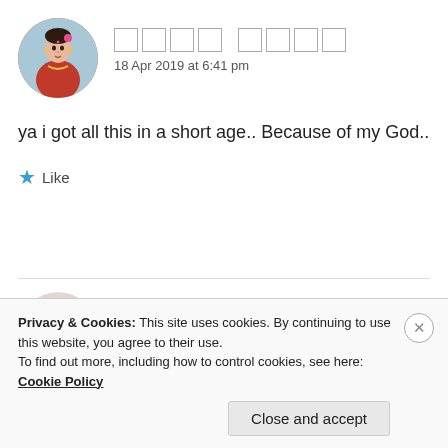[Figure (photo): Circular avatar of a woman in traditional Indian attire with jewelry, colorful background]
□□□□ □□□□
18 Apr 2019 at 6:41 pm
ya i got all this in a short age.. Because of my God..
★ Like
[Figure (photo): Circular avatar with dark red/maroon circular object on light background]
ZEALOUS HOMO SAPIENS
Privacy & Cookies: This site uses cookies. By continuing to use this website, you agree to their use.
To find out more, including how to control cookies, see here: Cookie Policy
Close and accept